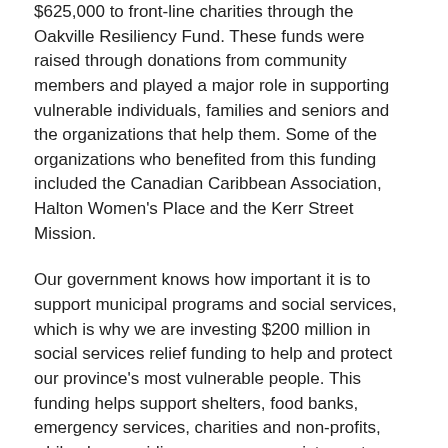$625,000 to front-line charities through the Oakville Resiliency Fund. These funds were raised through donations from community members and played a major role in supporting vulnerable individuals, families and seniors and the organizations that help them. Some of the organizations who benefited from this funding included the Canadian Caribbean Association, Halton Women's Place and the Kerr Street Mission.
Our government knows how important it is to support municipal programs and social services, which is why we are investing $200 million in social services relief funding to help and protect our province's most vulnerable people. This funding helps support shelters, food banks, emergency services, charities and non-profits, while also providing emergency assistance to families and individuals who didn't qualify for federal emergency benefits.
Thank you to the Oakville Community Foundation for supporting our community during this unprecedented